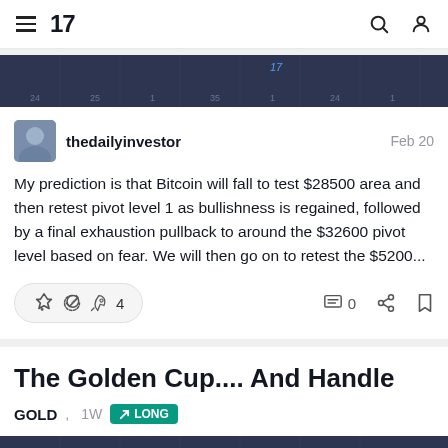TradingView navigation bar with hamburger menu, logo '17', search and profile icons
[Figure (screenshot): Dark blue-gray chart strip showing a financial price chart thumbnail]
thedailyinvestor   Feb 20
My prediction is that Bitcoin will fall to test $28500 area and then retest pivot level 1 as bullishness is regained, followed by a final exhaustion pullback to around the $32600 pivot level based on fear. We will then go on to retest the $5200...
🚀 4   0   (share)   (bookmark)
The Golden Cup.... And Handle
GOLD, 1W  ↗ LONG
[Figure (screenshot): Dark blue-gray chart strip at the bottom showing start of another financial chart]